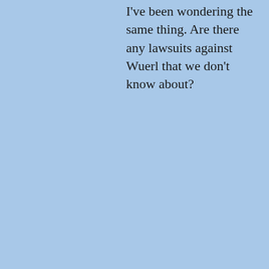I've been wondering the same thing. Are there any lawsuits against Wuerl that we don't know about?
REPLY
Claire Smith on July 24, 2018 at 10:06 pm
Wuerl is hiding and